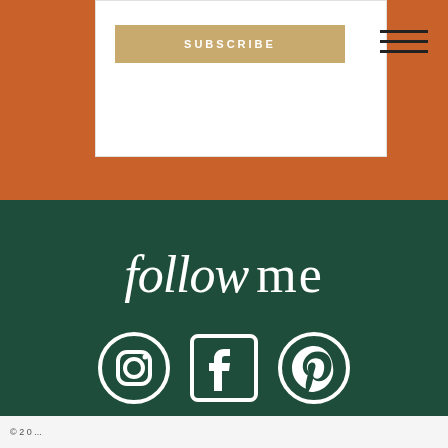[Figure (screenshot): Orange background section with a white card containing a tan/gold SUBSCRIBE button, and a hamburger menu icon in the upper right]
follow me
[Figure (infographic): Three white social media icons on dark green background: Instagram, Facebook, Pinterest]
© 2 0 ...